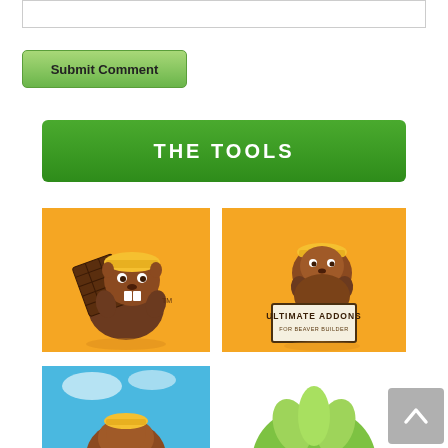[Figure (screenshot): Text input area box (comment field) at top of page]
[Figure (screenshot): Green 'Submit Comment' button]
THE TOOLS
[Figure (logo): Beaver Builder logo on yellow/orange background — cartoon brown beaver with hard hat holding a grid panel, with TM mark]
[Figure (logo): Ultimate Addons for Beaver Builder logo on yellow/orange background — cartoon beaver with hard hat, text box reading ULTIMATE ADDONS FOR BEAVER BUILDER]
[Figure (logo): Partial image on blue background showing cartoon beaver (bottom-left)]
[Figure (logo): Partial image showing green round logo/illustration (bottom-right)]
[Figure (screenshot): Back to top button — grey square with up arrow chevron, bottom right corner]